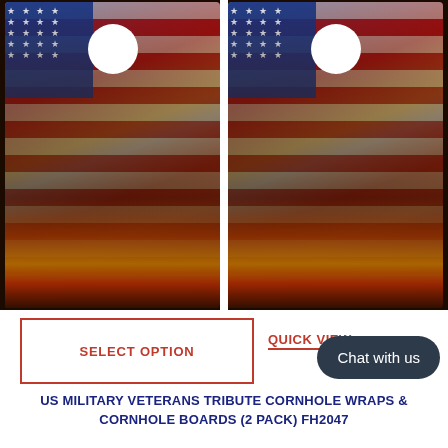[Figure (photo): Two cornhole boards side by side featuring a US military veterans tribute design with an American flag and soldier silhouette against a fire/battle scene background. Each board has a circular hole near the top.]
SELECT OPTION
QUICK VIEW
Chat with us
US MILITARY VETERANS TRIBUTE CORNHOLE WRAPS & CORNHOLE BOARDS (2 PACK) FH2047